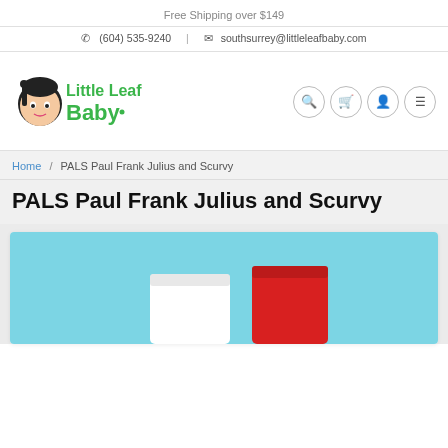Free Shipping over $149
(604) 535-9240   southsurrey@littleleafbaby.com
[Figure (logo): Little Leaf Baby logo with cartoon girl face and green text]
Home / PALS Paul Frank Julius and Scurvy
PALS Paul Frank Julius and Scurvy
[Figure (photo): Product photo showing two toy books on a light blue background — one white and one red — partially visible at bottom of page]